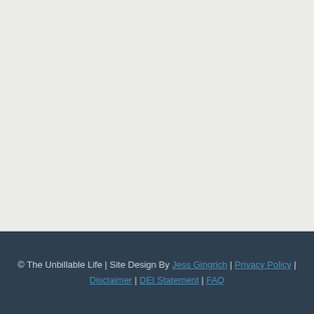© The Unbillable Life | Site Design By Jess Gingrich | Privacy Policy | Disclaimer | DEI Statement | FAQ